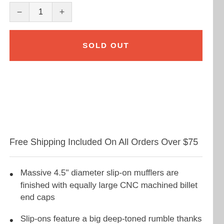1
SOLD OUT
Free Shipping Included On All Orders Over $75
Massive 4.5" diameter slip-on mufflers are finished with equally large CNC machined billet end caps
Slip-ons feature a big deep-toned rumble thanks to their large